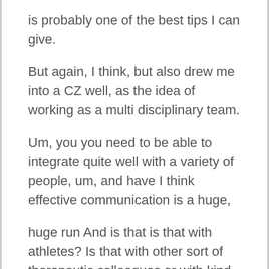is probably one of the best tips I can give.
But again, I think, but also drew me into a CZ well, as the idea of working as a multi disciplinary team.
Um, you you need to be able to integrate quite well with a variety of people, um, and have I think effective communication is a huge,
huge run And is that is that with athletes? Is that with other sort of therapeutic colleagues or with kind of like the management and stuff as well,